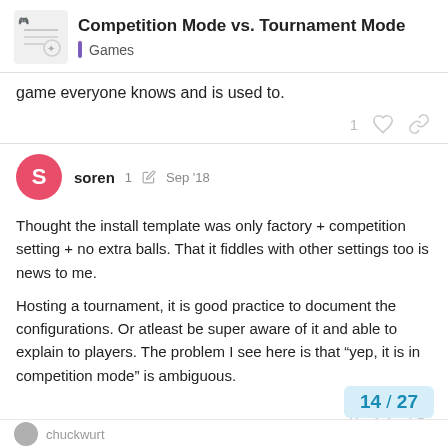Competition Mode vs. Tournament Mode — Games
game everyone knows and is used to.
soren  1  Sep '18
Thought the install template was only factory + competition setting + no extra balls. That it fiddles with other settings too is news to me.
Hosting a tournament, it is good practice to document the configurations. Or atleast be super aware of it and able to explain to players. The problem I see here is that “yep, it is in competition mode” is ambiguous.
14 / 27